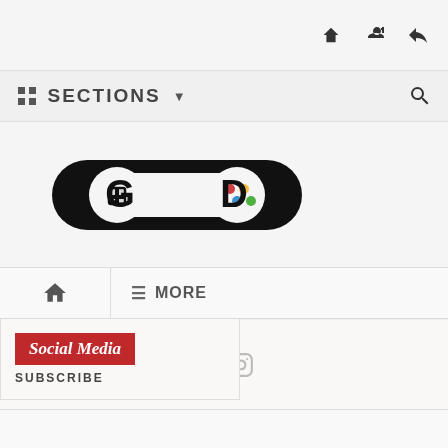[Figure (logo): Top navigation bar with up arrow, add user icon, and login/exit icon on the right side]
:: SECTIONS ↓
[Figure (logo): Game controller logo - GD brand logo with gamepad icon]
⌂  ≡ MORE
[Figure (infographic): Dropdown with Social Media label in red italic badge, SUBSCRIBE text below, and social media icons (Facebook, YouTube, Twitter, Instagram) underneath]